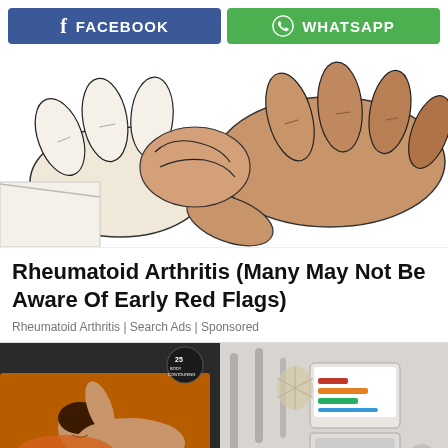[Figure (infographic): Facebook share button (blue) and WhatsApp share button (green) side by side at top of page]
[Figure (illustration): Illustration of two hands clasped together, one white and one brown/tan, suggesting a caring or medical context related to rheumatoid arthritis]
Rheumatoid Arthritis (Many May Not Be Aware Of Early Red Flags)
Rheumatoid Arthritis | Search Ads | Sponsored
[Figure (photo): Photo of a woman lying down smiling in what appears to be a body contouring or medical spa device, with equipment visible. Text '25 BODY CONTOURING' visible on device.]